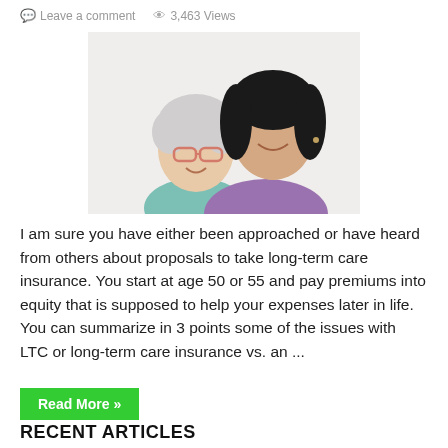Leave a comment   3,463 Views
[Figure (photo): Two women smiling together — an older woman with white/grey hair and pink glasses, and a younger woman with dark hair wearing a purple shirt, posing cheek-to-cheek]
I am sure you have either been approached or have heard from others about proposals to take long-term care insurance. You start at age 50 or 55 and pay premiums into equity that is supposed to help your expenses later in life. You can summarize in 3 points some of the issues with LTC or long-term care insurance vs. an ...
Read More »
RECENT ARTICLES